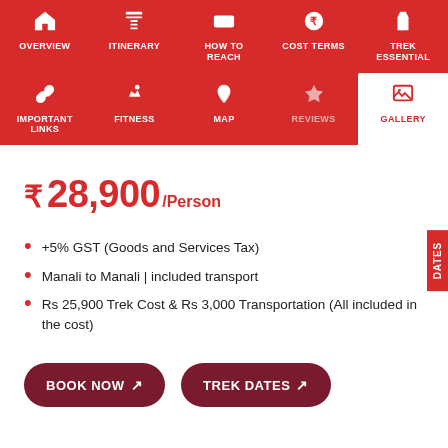OVERVIEW | ITINERARY | HOW TO REACH | COST TERMS | TREK ESSENTIAL | IMPORTANT LINKS | FITNESS | MAP | REVIEWS | GALLERY
₹ 28,900 /Person
+5% GST (Goods and Services Tax)
Manali to Manali | included transport
Rs 25,900 Trek Cost & Rs 3,000 Transportation (All included in the cost)
BOOK NOW ↗   TREK DATES ↗